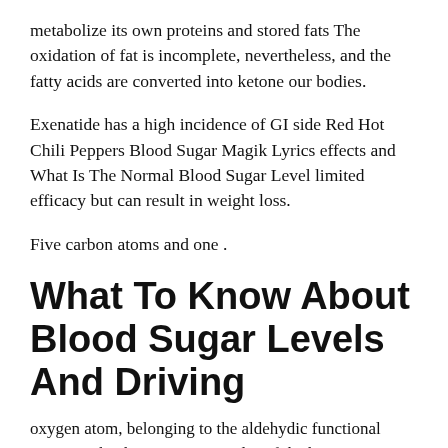metabolize its own proteins and stored fats The oxidation of fat is incomplete, nevertheless, and the fatty acids are converted into ketone our bodies.
Exenatide has a high incidence of GI side Red Hot Chili Peppers Blood Sugar Magik Lyrics effects and What Is The Normal Blood Sugar Level limited efficacy but can result in weight loss.
Five carbon atoms and one .
What To Know About Blood Sugar Levels And Driving
oxygen atom, belonging to the aldehydic functional group, make the corners or angles of the hexagon.